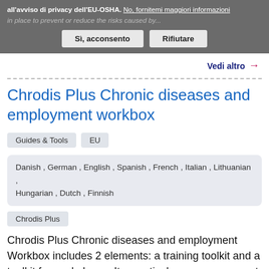all'avviso di privacy dell'EU-OSHA. No, fornitemi maggiori informazioni
in place to prevent or reduce the risks caused by...
Sì, acconsento   Rifiutare
Vedi altro →
Chrodis Plus Chronic diseases and employment workbox
Guides & Tools   EU
Danish , German , English , Spanish , French , Italian , Lithuanian , Hungarian , Dutch , Finnish
Chrodis Plus
Chrodis Plus Chronic diseases and employment Workbox includes 2 elements: a training toolkit and a toolkit for workplaces. Its practical resources support workplaces to:measure, evaluate and strengthen the inclusiveness of workplaces and the work-ability of employees with chronic